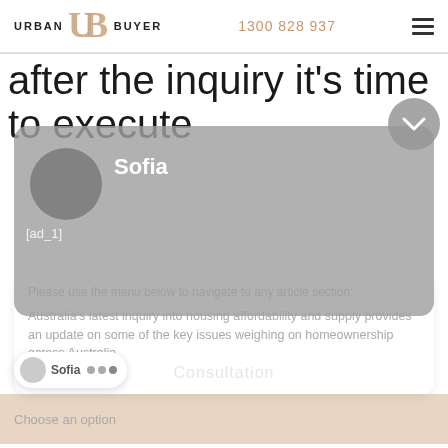URBAN BUYER | 1300 828 937
after the inquiry it's time to execute
[Figure (screenshot): Gray overlay card with circular avatar placeholder, name 'Sofia' in white bold text, and ad placeholder text [ad_1]]
Please use the menu below to navigate to any article section:
Australia's latest inquiry into housing affordability and supply provides an update on some of the key issues weighing on homeownership across Australia.
The report
Choose an option